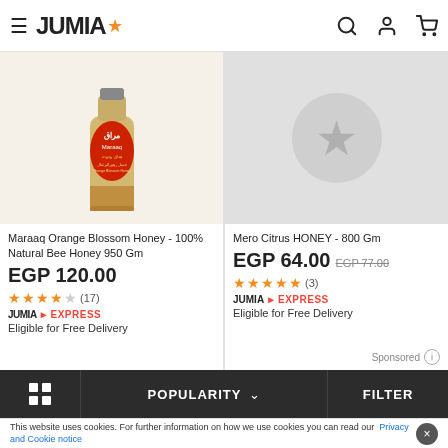JUMIA
[Figure (photo): Maraaq Orange Blossom Honey bottle - 100% Natural Bee Honey 950 Gm product image]
Maraaq Orange Blossom Honey - 100% Natural Bee Honey 950 Gm
EGP 120.00
★★★★☆ (17)
JUMIA EXPRESS
Eligible for Free Delivery
[Figure (photo): Mero Citrus HONEY 800 Gm product placeholder image with star icon]
Mero Citrus HONEY - 800 Gm
EGP 64.00  EGP 77.00
★★★★★ (3)
JUMIA EXPRESS
Eligible for Free Delivery
Sponsored ℹ
POPULARITY  FILTER
This website uses cookies. For further information on how we use cookies you can read our  Privacy and Cookie notice